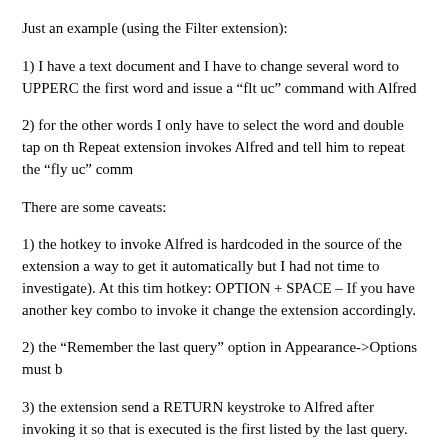Just an example (using the Filter extension):
1) I have a text document and I have to change several word to UPPERC the first word and issue a “flt uc” command with Alfred
2) for the other words I only have to select the word and double tap on th Repeat extension invokes Alfred and tell him to repeat the “fly uc” comm
There are some caveats:
1) the hotkey to invoke Alfred is hardcoded in the source of the extension a way to get it automatically but I had not time to investigate). At this tim hotkey: OPTION + SPACE – If you have another key combo to invoke it change the extension accordingly.
2) the “Remember the last query” option in Appearance->Options must b
3) the extension send a RETURN keystroke to Alfred after invoking it so that is executed is the first listed by the last query.